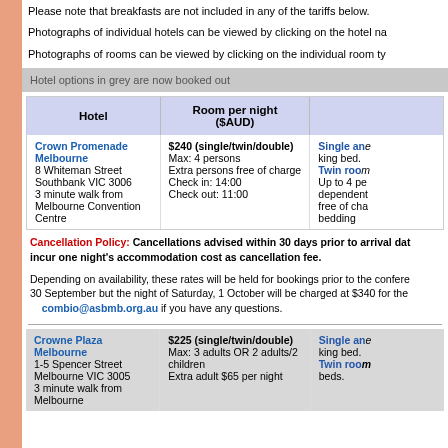Please note that breakfasts are not included in any of the tariffs below.
Photographs of individual hotels can be viewed by clicking on the hotel na
Photographs of rooms can be viewed by clicking on the individual room ty
Hotel options in grey are now booked out
| Hotel | Room per night ($AUD) |  |
| --- | --- | --- |
| Crown Promenade Melbourne
8 Whiteman Street
Southbank VIC 3006
3 minute walk from Melbourne Convention Centre | $240 (single/twin/double)
Max: 4 persons
Extra persons free of charge
Check in: 14:00
Check out: 11:00 | Single and
king bed.
Twin room
Up to 4 pe
dependent
free of cha
bedding |
Cancellation Policy: Cancellations advised within 30 days prior to arrival dat incur one night's accommodation cost as cancellation fee.
Depending on availability, these rates will be held for bookings prior to the confere 30 September but the night of Saturday, 1 October will be charged at $340 for the combio@asbmb.org.au if you have any questions.
| Hotel | Room per night ($AUD) |  |
| --- | --- | --- |
| Crowne Plaza Melbourne
1-5 Spencer Street
Melbourne VIC 3005
3 minute walk from Melbourne | $225 (single/twin/double)
Max: 3 adults OR 2 adults/2 children
Extra adult $65 per night | Single and
king bed.
Twin room
beds. |